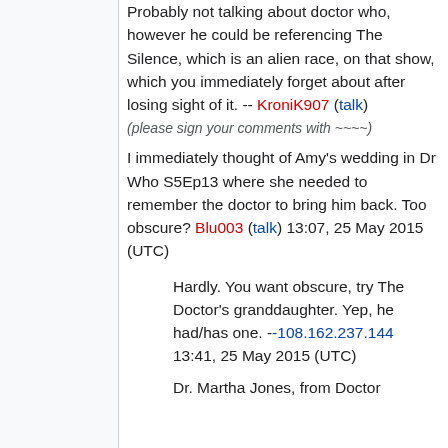Probably not talking about doctor who, however he could be referencing The Silence, which is an alien race, on that show, which you immediately forget about after losing sight of it. -- KroniK907 (talk)
(please sign your comments with ~~~~)
I immediately thought of Amy's wedding in Dr Who S5Ep13 where she needed to remember the doctor to bring him back. Too obscure? Blu003 (talk) 13:07, 25 May 2015 (UTC)
Hardly. You want obscure, try The Doctor's granddaughter. Yep, he had/has one. --108.162.237.144 13:41, 25 May 2015 (UTC)
Dr. Martha Jones, from Doctor